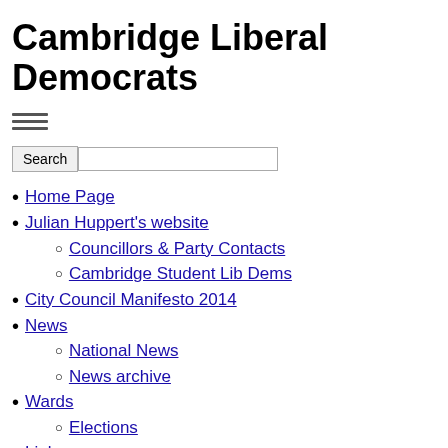Cambridge Liberal Democrats
[Figure (other): Hamburger menu icon with three horizontal lines]
Home Page
Julian Huppert's website
Councillors & Party Contacts
Cambridge Student Lib Dems
City Council Manifesto 2014
News
National News
News archive
Wards
Elections
Links
Your Views
Keep in Touch
Join The Party
Donate